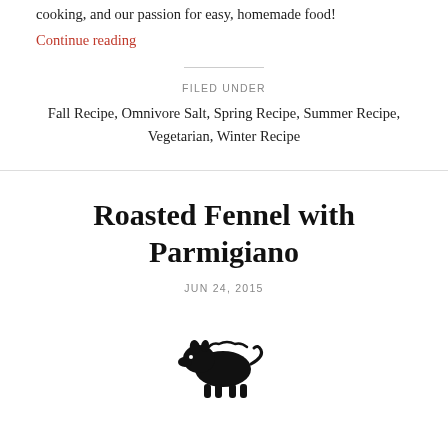cooking, and our passion for easy, homemade food!
Continue reading
FILED UNDER
Fall Recipe, Omnivore Salt, Spring Recipe, Summer Recipe, Vegetarian, Winter Recipe
Roasted Fennel with Parmigiano
JUN 24, 2015
[Figure (logo): Small black pig/boar illustration icon]